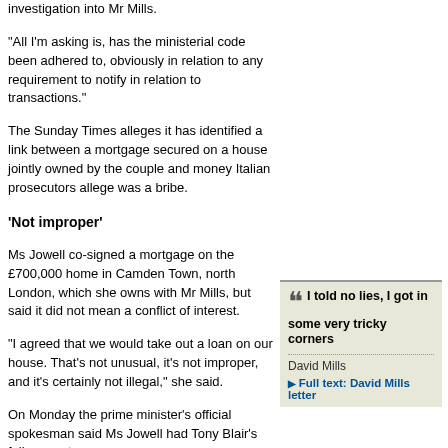investigation into Mr Mills.
"All I'm asking is, has the ministerial code been adhered to, obviously in relation to any requirement to notify in relation to transactions."
The Sunday Times alleges it has identified a link between a mortgage secured on a house jointly owned by the couple and money Italian prosecutors allege was a bribe.
'Not improper'
Ms Jowell co-signed a mortgage on the £700,000 home in Camden Town, north London, which she owns with Mr Mills, but said it did not mean a conflict of interest.
"I agreed that we would take out a loan on our house. That's not unusual, it's not improper, and it's certainly not illegal," she said.
On Monday the prime minister's official spokesman said Ms Jowell had Tony Blair's full support.
Italian officials say Mr Mills, 61, was paid to give false evidence in court for Mr Berlusconi.
Mr Mills admits writing a letter to his accountants where he appears to be describing a payment, but claims he was inventing a scenario to get tax advice.
I told no lies, I got in some very tricky corners
David Mills
Full text: David Mills letter